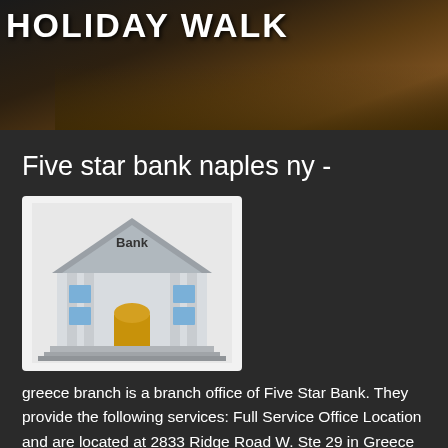[Figure (photo): Banner image with text 'HOLIDAY WALK' in large bold white uppercase letters on a dark/brownish background]
Five star bank naples ny -
[Figure (illustration): Illustration of a bank building with columns, a grey roof, and a golden door, with the word 'Bank' above the entrance]
greece branch is a branch office of Five Star Bank. They provide the following services: Full Service Office Location and are located at 2833 Ridge Road W. Ste 29 in Greece New York.
Mobile and traditional directions to this location can be found below along with ratings, online banking website and additional banking information.
Branch Directions: